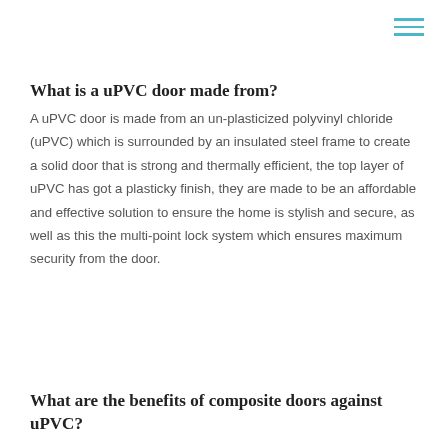What is a uPVC door made from?
A uPVC door is made from an un-plasticized polyvinyl chloride (uPVC) which is surrounded by an insulated steel frame to create a solid door that is strong and thermally efficient, the top layer of uPVC has got a plasticky finish, they are made to be an affordable and effective solution to ensure the home is stylish and secure, as well as this the multi-point lock system which ensures maximum security from the door.
What are the benefits of composite doors against uPVC?